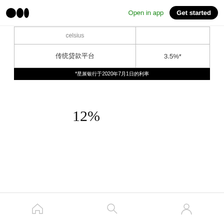Open in app  Get started
|  |  |
| --- | --- |
| celsius |  |
| 传统贷款平台 | 3.5%* |
*星展银行于2020年7月1日的利率
12%
Home  Search  Profile